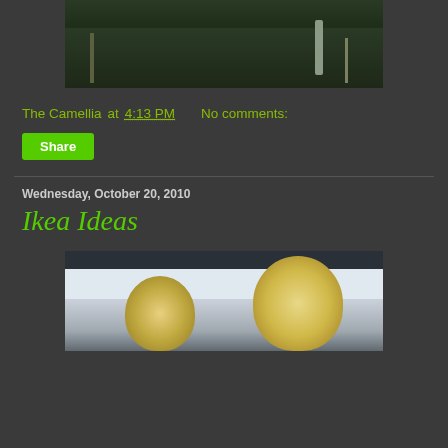[Figure (photo): Outdoor landscape photo showing trees and green field in dark/twilight tones]
The Camellia at 4:13 PM    No comments:
Share
Wednesday, October 20, 2010
Ikea Ideas
[Figure (photo): Interior photo showing decorative pendant lamps hanging from a white ceiling in an IKEA showroom]